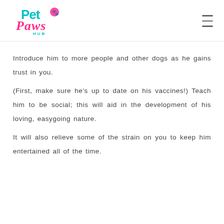Pet Paws Hub
Introduce him to more people and other dogs as he gains trust in you.
(First, make sure he’s up to date on his vaccines!) Teach him to be social; this will aid in the development of his loving, easygoing nature.
It will also relieve some of the strain on you to keep him entertained all of the time.